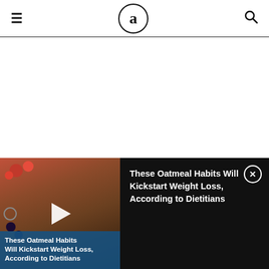Eat This Not That (logo: a)
[Figure (screenshot): White blank area below header (advertisement placeholder)]
[Figure (other): Video player bar at bottom: left side shows oatmeal food thumbnail with red and dark berries on top, blue overlay text reading 'These Oatmeal Habits Will Kickstart Weight Loss, According to Dietitians' with white play button triangle. Right side dark background with same title text in white and close button.]
These Oatmeal Habits Will Kickstart Weight Loss, According to Dietitians